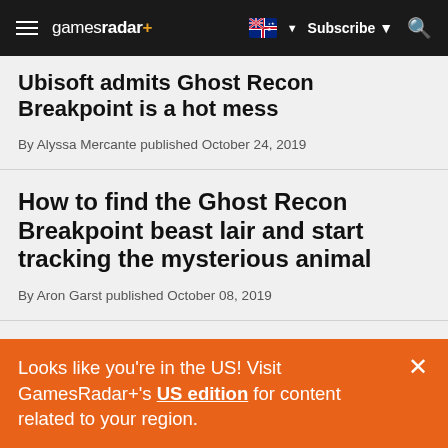gamesradar+ | Subscribe | Search
Ubisoft admits Ghost Recon Breakpoint is a hot mess
By Alyssa Mercante published October 24, 2019
How to find the Ghost Recon Breakpoint beast lair and start tracking the mysterious animal
By Aron Garst published October 08, 2019
7 essential Ghost Recon Breakpoint tips: survive
Looks like you're in the US! Visit GamesRadar+'s US edition for content related to your region.